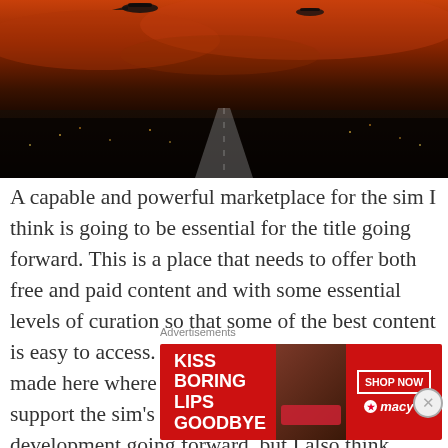[Figure (photo): Aerial night/sunset photo showing aircraft silhouette over a city with runway lights, dramatic red-orange sky]
A capable and powerful marketplace for the sim I think is going to be essential for the title going forward. This is a place that needs to offer both free and paid content and with some essential levels of curation so that some of the best content is easy to access. There’s a business case to be made here where a strong marketplace can support the sim’s overall maintenance and development going forward, but I also think there’s a strong user focused piece here too.
Advertisements
[Figure (photo): Macy’s advertisement banner: KISS BORING LIPS GOODBYE with SHOP NOW button and Macy’s star logo, model face visible]